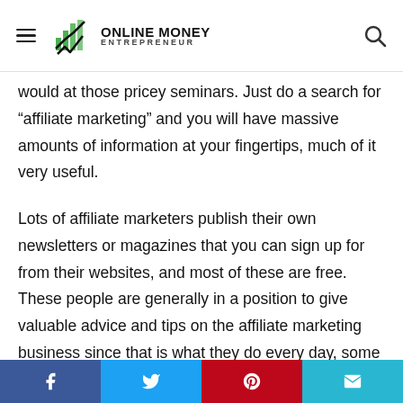ONLINE MONEY ENTREPRENEUR
would at those pricey seminars. Just do a search for “affiliate marketing” and you will have massive amounts of information at your fingertips, much of it very useful.
Lots of affiliate marketers publish their own newsletters or magazines that you can sign up for from their websites, and most of these are free. These people are generally in a position to give valuable advice and tips on the affiliate marketing business since that is what they do every day, some of them having been in the business for years. Even though most people on the internet are
Facebook | Twitter | Pinterest | Email